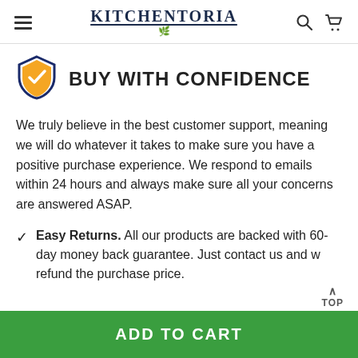KITCHENTORIA
BUY WITH CONFIDENCE
We truly believe in the best customer support, meaning we will do whatever it takes to make sure you have a positive purchase experience. We respond to emails within 24 hours and always make sure all your concerns are answered ASAP.
Easy Returns. All our products are backed with 60-day money back guarantee. Just contact us and w refund the purchase price.